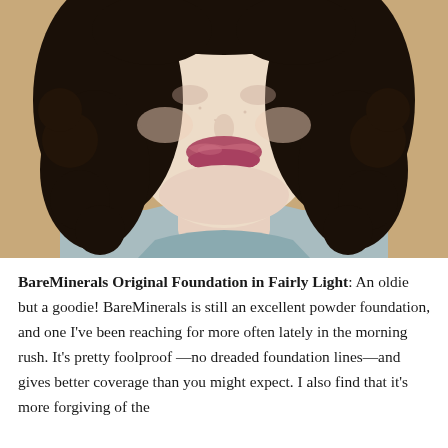[Figure (photo): Close-up photo of a woman with dark curly hair, fair skin, wearing a muted rose/mauve lipstick and a light blue-gray knit top, photographed against a warm beige/tan background. The photo shows from approximately the chin/neck area up.]
BareMinerals Original Foundation in Fairly Light: An oldie but a goodie! BareMinerals is still an excellent powder foundation, and one I've been reaching for more often lately in the morning rush. It's pretty foolproof —no dreaded foundation lines—and gives better coverage than you might expect. I also find that it's more forgiving of the